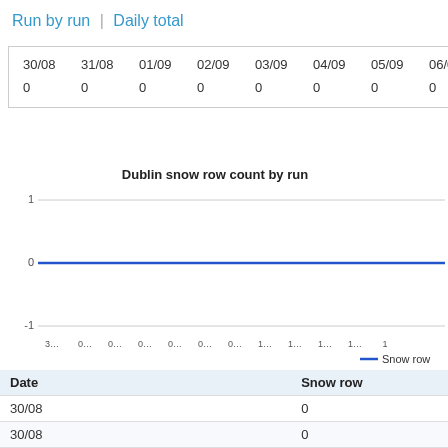Run by run | Daily total
| 30/08 | 31/08 | 01/09 | 02/09 | 03/09 | 04/09 | 05/09 | 06/09 |
| --- | --- | --- | --- | --- | --- | --- | --- |
| 0 | 0 | 0 | 0 | 0 | 0 | 0 | 0 |
[Figure (line-chart): Dublin snow row count by run]
| Date | Snow row |
| --- | --- |
| 30/08 | 0 |
| 30/08 | 0 |
| 30/08 | 0 |